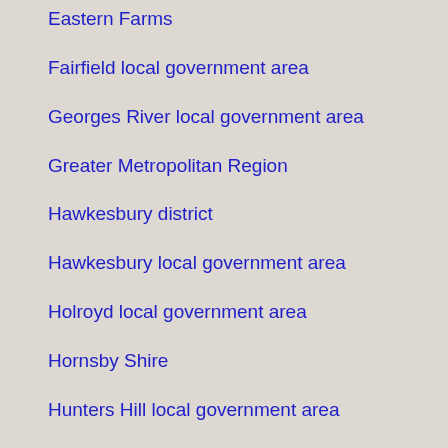Eastern Farms
Fairfield local government area
Georges River local government area
Greater Metropolitan Region
Hawkesbury district
Hawkesbury local government area
Holroyd local government area
Hornsby Shire
Hunters Hill local government area
Hurstville local government area
Inner West local government area
Kogarah local government area